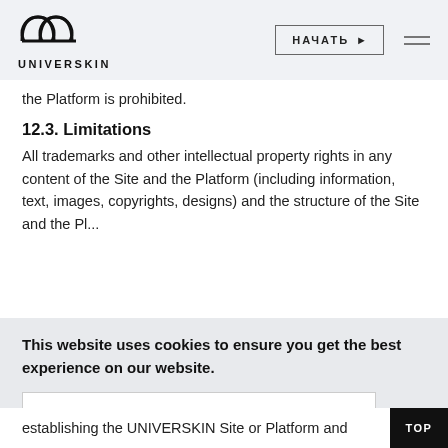[Figure (logo): UNIVERSKIN logo with icon of two overlapping circles forming a shape above the text UNIVERSKIN]
the Platform is prohibited.
12.3. Limitations
All trademarks and other intellectual property rights in any content of the Site and the Platform (including information, text, images, copyrights, designs) and the structure of the Site and the Pl...
This website uses cookies to ensure you get the best experience on our website.
Got it!
perty
establishing the UNIVERSKIN Site or Platform and